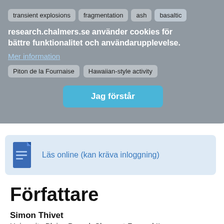[Figure (screenshot): Cookie consent overlay with keyword tags, message in Swedish, and a blue 'Jag förstår' button over a document access area]
Författare
Simon Thivet
Universite Blaise Pascal, Clermont-Ferrand II
L. Gurioli
Universite Blaise Pascal, Clermont-Ferrand II